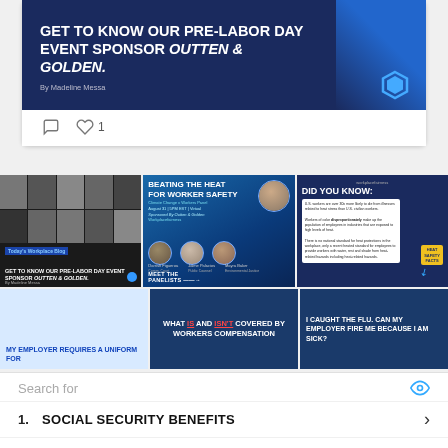[Figure (screenshot): Social media post card with dark blue banner reading 'GET TO KNOW OUR PRE-LABOR DAY EVENT SPONSOR OUTTEN & GOLDEN.' By Madeline Messa, with a blue hexagon logo. Below are comment and like icons with count of 1.]
[Figure (screenshot): Grid of six social media thumbnail images about workplace fairness topics including 'Beating the Heat for Worker Safety', 'Did You Know' heat safety facts, uniform policy, workers compensation, and flu/sick leave questions.]
Search for
1. SOCIAL SECURITY BENEFITS ›
2. DISABILITY BENEFITS LAW ›